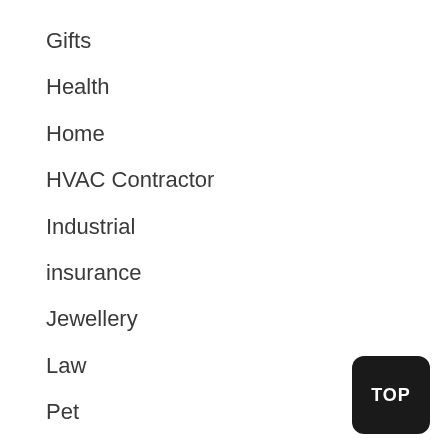Gifts
Health
Home
HVAC Contractor
Industrial
insurance
Jewellery
Law
Pet
Safety
Shopping
Sports